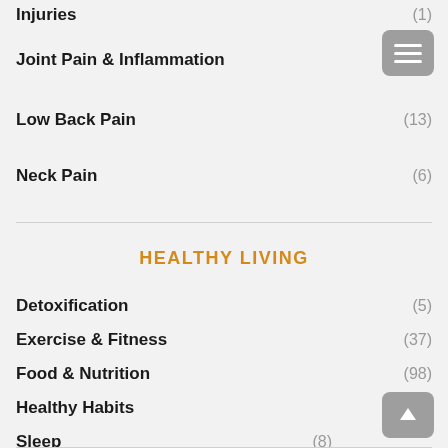Injuries (1)
Joint Pain & Inflammation
Low Back Pain (13)
Neck Pain (6)
HEALTHY LIVING
Detoxification (5)
Exercise & Fitness (37)
Food & Nutrition (98)
Healthy Habits (55)
Sleep (8)
Weight Loss (20)